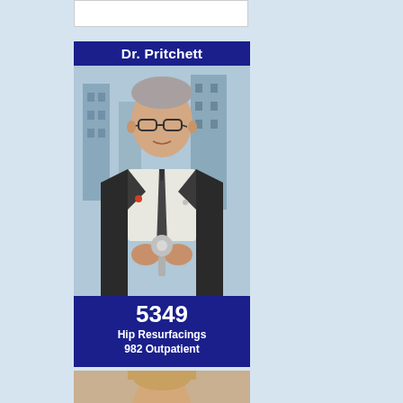[Figure (photo): White rectangular card/image placeholder at top]
[Figure (photo): Advertisement card for Dr. Pritchett showing an older male doctor in a dark suit holding a hip resurfacing implant device, standing in front of a city background. Blue banner at top reads 'Dr. Pritchett' and blue banner at bottom reads '5349 Hip Resurfacings 982 Outpatient'.]
5349 Hip Resurfacings 982 Outpatient
[Figure (photo): Partial photo at bottom of page showing another person, cropped]